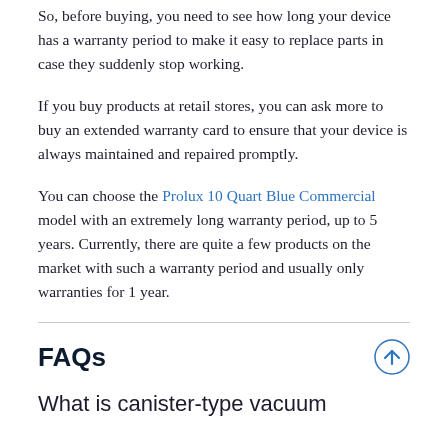So, before buying, you need to see how long your device has a warranty period to make it easy to replace parts in case they suddenly stop working.
If you buy products at retail stores, you can ask more to buy an extended warranty card to ensure that your device is always maintained and repaired promptly.
You can choose the Prolux 10 Quart Blue Commercial model with an extremely long warranty period, up to 5 years. Currently, there are quite a few products on the market with such a warranty period and usually only warranties for 1 year.
FAQs
What is canister-type vacuum